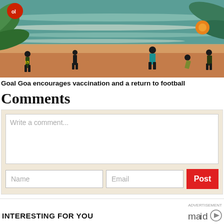[Figure (illustration): Colorful beach scene illustration with silhouettes of children playing football/soccer on a sandy beach with teal water and decorative tropical leaves and flowers in corners. A red circle with 'ol' text is visible top-left.]
Goal Goa encourages vaccination and a return to football
Comments
Write a comment...
Name
Email
Post
ADVERTISEMENT
INTERESTING FOR YOU
[Figure (logo): Maid logo with play button icon]